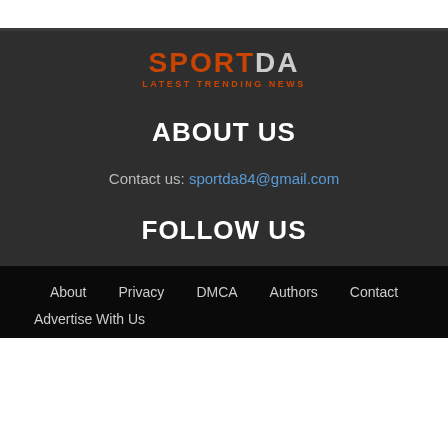[Figure (logo): SPORTDA logo with tagline LATEST TRENDING NEWS]
ABOUT US
Contact us: sportda84@gmail.com
FOLLOW US
About  Privacy  DMCA  Authors  Contact  Advertise With Us